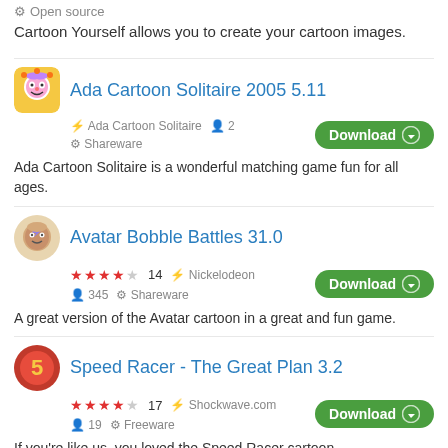Open source
Cartoon Yourself allows you to create your cartoon images.
Ada Cartoon Solitaire 2005 5.11
Ada Cartoon Solitaire  2  Shareware  Download
Ada Cartoon Solitaire is a wonderful matching game fun for all ages.
Avatar Bobble Battles 31.0
★★★★☆ 14  Nickelodeon  345  Shareware  Download
A great version of the Avatar cartoon in a great and fun game.
Speed Racer - The Great Plan 3.2
★★★★☆ 17  Shockwave.com  19  Freeware  Download
If you're like us, you loved the Speed Racer cartoon.